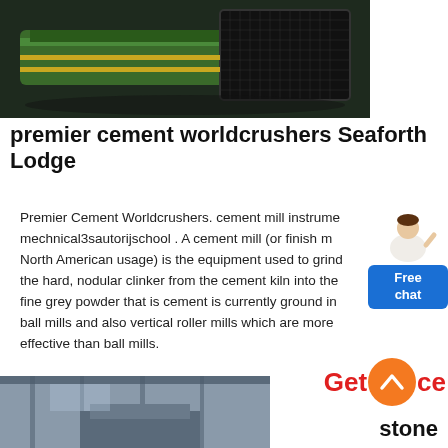[Figure (photo): Aerial or overhead view of green industrial crushing/conveying equipment on dark surface]
premier cement worldcrushers Seaforth Lodge
Premier Cement Worldcrushers. cement mill instrumental mechnical3sautorijschool . A cement mill (or finish mill in North American usage) is the equipment used to grind the hard, nodular clinker from the cement kiln into the fine grey powder that is cement is currently ground in ball mills and also vertical roller mills which are more effective than ball mills.
[Figure (other): Free chat widget with person figure and blue button labeled Free chat]
[Figure (photo): Interior industrial facility with overhead structure visible at bottom of page]
Get Price
stone